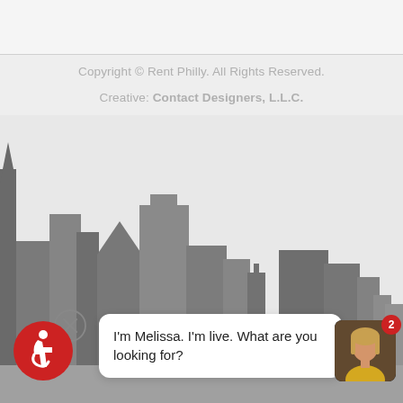Copyright © Rent Philly. All Rights Reserved.
Creative: Contact Designers, L.L.C.
[Figure (illustration): Stylized city skyline silhouette in shades of gray and dark gray against a light gray background]
I'm Melissa. I'm live. What are you looking for?
[Figure (photo): Circular close/dismiss button with X symbol, and a red circular accessibility icon showing person in wheelchair]
[Figure (photo): Avatar photo of a woman with blonde hair wearing a yellow top, with a red badge showing the number 2]